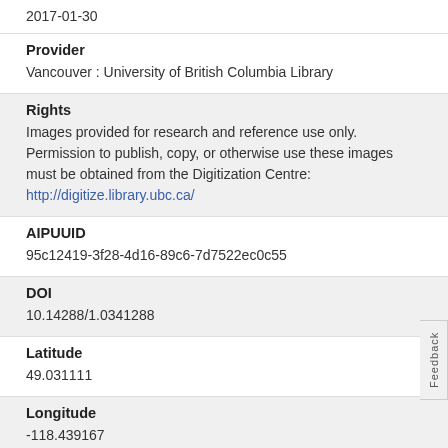2017-01-30
Provider
Vancouver : University of British Columbia Library
Rights
Images provided for research and reference use only. Permission to publish, copy, or otherwise use these images must be obtained from the Digitization Centre: http://digitize.library.ubc.ca/
AIPUUID
95c12419-3f28-4d16-89c6-7d7522ec0c55
DOI
10.14288/1.0341288
Latitude
49.031111
Longitude
-118.439167